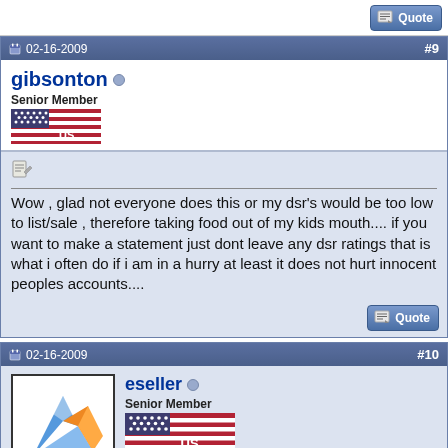[Figure (screenshot): Quote button at top right]
02-16-2009  #9
gibsonton
Senior Member
[Figure (illustration): US flag banner]
Wow , glad not everyone does this or my dsr's would be too low to list/sale , therefore taking food out of my kids mouth.... if you want to make a statement just dont leave any dsr ratings that is what i often do if i am in a hurry at least it does not hurt innocent peoples accounts....
[Figure (screenshot): Quote button bottom right of post 9]
02-16-2009  #10
[Figure (illustration): eseller avatar - blue/orange abstract icon]
eseller
Senior Member
[Figure (illustration): US flag banner for eseller]